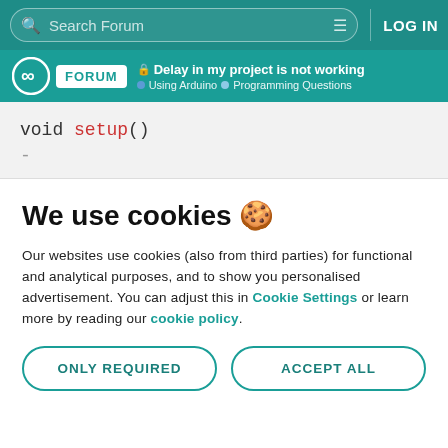Search Forum  LOG IN
FORUM | Delay in my project is not working | Using Arduino > Programming Questions
[Figure (screenshot): Code snippet showing: void setup()]
We use cookies 🍪
Our websites use cookies (also from third parties) for functional and analytical purposes, and to show you personalised advertisement. You can adjust this in Cookie Settings or learn more by reading our cookie policy.
ONLY REQUIRED
ACCEPT ALL